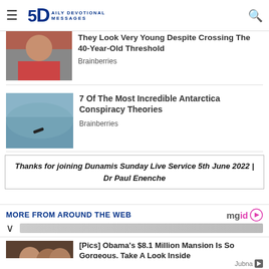5D DAILY DEVOTIONAL MESSAGES
[Figure (photo): Partial article thumbnail - person in red clothing]
They Look Very Young Despite Crossing The 40-Year-Old Threshold
Brainberries
[Figure (photo): Antarctica aerial photo showing a small dark object on ice/water]
7 Of The Most Incredible Antarctica Conspiracy Theories
Brainberries
Thanks for joining Dunamis Sunday Live Service 5th June 2022 | Dr Paul Enenche
MORE FROM AROUND THE WEB
[Figure (photo): Photo of Obama family - three people smiling outdoors]
[Pics] Obama's $8.1 Million Mansion Is So Gorgeous. Take A Look Inside
BuzzAura | Sponsored